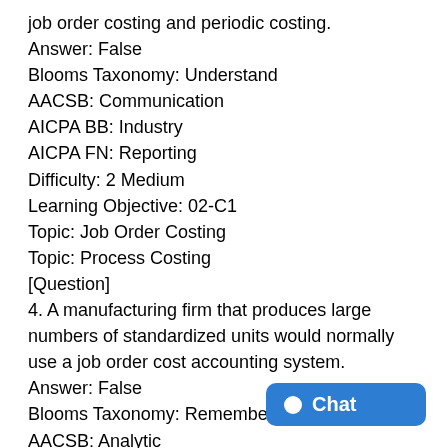job order costing and periodic costing.
Answer: False
Blooms Taxonomy: Understand
AACSB: Communication
AICPA BB: Industry
AICPA FN: Reporting
Difficulty: 2 Medium
Learning Objective: 02-C1
Topic: Job Order Costing
Topic: Process Costing
[Question]
4. A manufacturing firm that produces large numbers of standardized units would normally use a job order cost accounting system.
Answer: False
Blooms Taxonomy: Remember
AACSB: Analytic